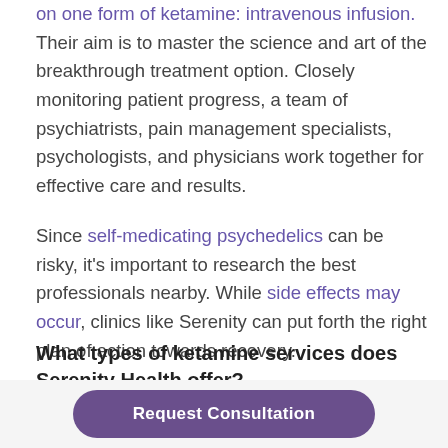on one form of ketamine: intravenous infusion. Their aim is to master the science and art of the breakthrough treatment option. Closely monitoring patient progress, a team of psychiatrists, pain management specialists, psychologists, and physicians work together for effective care and results.
Since self-medicating psychedelics can be risky, it's important to research the best professionals nearby. While side effects may occur, clinics like Serenity can put forth the right plan of action towards recovery.
What types of ketamine services does Serenity Health offer?
IV ketamine infusion therapy
Request Consultation